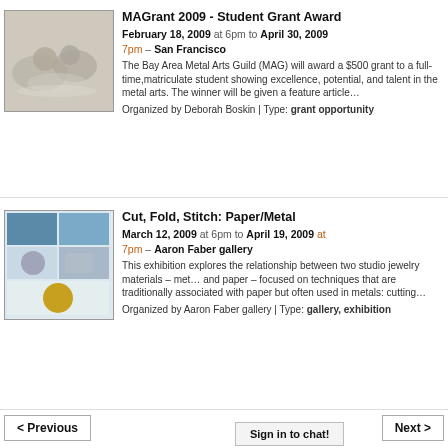[Figure (photo): Thumbnail image of metalwork art pieces on a neutral background]
MAGrant 2009 - Student Grant Award
February 18, 2009 at 6pm to April 30, 2009 7pm – San Francisco
The Bay Area Metal Arts Guild (MAG) will award a $500 grant to a full-time,matriculate student showing excellence, potential, and talent in the metal arts. The winner will be given a feature article…
Organized by Deborah Boskin | Type: grant opportunity
[Figure (photo): Thumbnail image showing a collage/poster of jewelry and metalwork pieces]
Cut, Fold, Stitch: Paper/Metal
March 12, 2009 at 6pm to April 19, 2009 at 7pm – Aaron Faber gallery
This exhibition explores the relationship between two studio jewelry materials – metal and paper – focused on techniques that are traditionally associated with paper but often used in metals: cutting…
Organized by Aaron Faber gallery | Type: gallery, exhibition
< Previous
Next >
Sign in to chat!